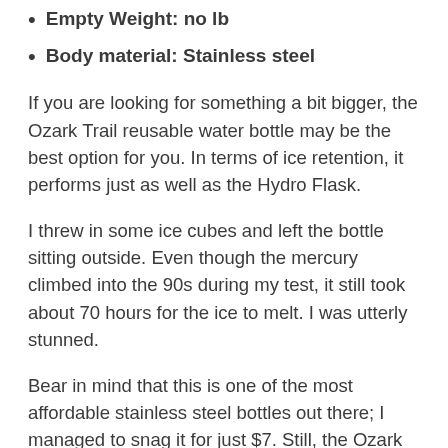Empty Weight: no lb
Body material: Stainless steel
If you are looking for something a bit bigger, the Ozark Trail reusable water bottle may be the best option for you. In terms of ice retention, it performs just as well as the Hydro Flask.
I threw in some ice cubes and left the bottle sitting outside. Even though the mercury climbed into the 90s during my test, it still took about 70 hours for the ice to melt. I was utterly stunned.
Bear in mind that this is one of the most affordable stainless steel bottles out there; I managed to snag it for just $7. Still, the Ozark never felt cheap when I used it.
The odd one out of the bottles under discussion, and...